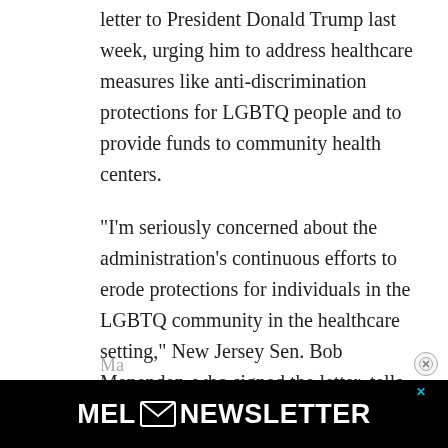letter to President Donald Trump last week, urging him to address healthcare measures like anti-discrimination protections for LGBTQ people and to provide funds to community health centers.
“I’m seriously concerned about the administration’s continuous efforts to erode protections for individuals in the LGBTQ community in the healthcare setting,” New Jersey Sen. Bob Menendez, who signed the letter, tells MEL in a statement. The senators requested a response from the Trump administration by April 3rd. So far, they’ve gotten no word.